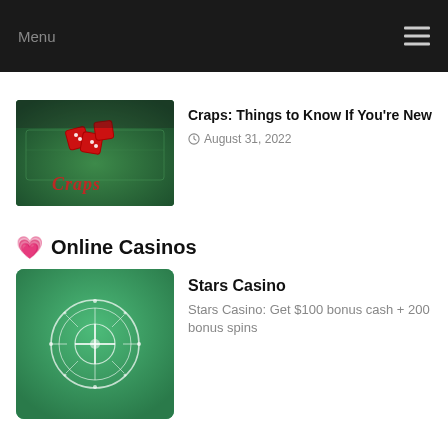Menu
[Figure (screenshot): Craps casino table with red dice and 'Craps' text logo on green felt]
Craps: Things to Know If You're New
August 31, 2022
Online Casinos
[Figure (logo): Stars Casino logo - white roulette wheel emblem on green background]
Stars Casino
Stars Casino: Get $100 bonus cash + 200 bonus spins